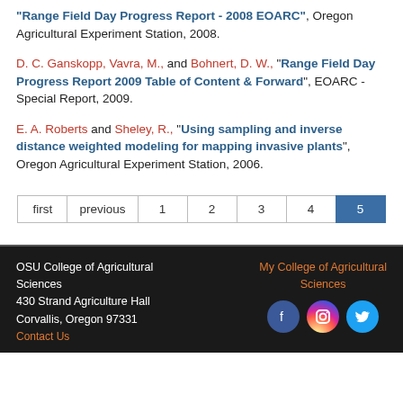"Range Field Day Progress Report - 2008 EOARC", Oregon Agricultural Experiment Station, 2008.
D. C. Ganskopp, Vavra, M., and Bohnert, D. W., "Range Field Day Progress Report 2009 Table of Content & Forward", EOARC - Special Report, 2009.
E. A. Roberts and Sheley, R., "Using sampling and inverse distance weighted modeling for mapping invasive plants", Oregon Agricultural Experiment Station, 2006.
Pagination: first, previous, 1, 2, 3, 4, 5 (active)
OSU College of Agricultural Sciences
430 Strand Agriculture Hall
Corvallis, Oregon 97331
Contact Us | My College of Agricultural Sciences